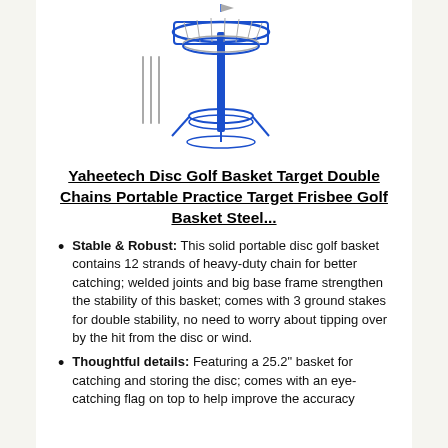[Figure (illustration): Line drawing illustration of a disc golf basket target with blue pole, double chain system, and tripod base, along with a small flag icon to the left]
Yaheetech Disc Golf Basket Target Double Chains Portable Practice Target Frisbee Golf Basket Steel...
Stable & Robust: This solid portable disc golf basket contains 12 strands of heavy-duty chain for better catching; welded joints and big base frame strengthen the stability of this basket; comes with 3 ground stakes for double stability, no need to worry about tipping over by the hit from the disc or wind.
Thoughtful details: Featuring a 25.2" basket for catching and storing the disc; comes with an eye-catching flag on top to help improve the accuracy